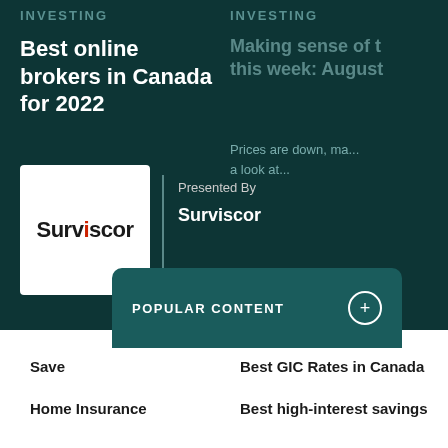INVESTING
Best online brokers in Canada for 2022
INVESTING
Making sense of the markets this week: August
Prices are down, ma... a look at...
[Figure (logo): Surviscor logo — black text with red 'i' letter]
Presented By Surviscor
POPULAR CONTENT
Save
Best GIC Rates in Canada
Home Insurance
Best high-interest savings